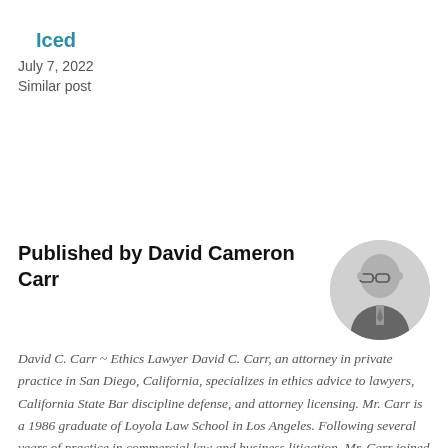Iced
July 7, 2022
Similar post
Published by David Cameron Carr
[Figure (photo): Circular black and white headshot photo of David Cameron Carr, a man wearing glasses and a suit with tie]
David C. Carr ~ Ethics Lawyer David C. Carr, an attorney in private practice in San Diego, California, specializes in ethics advice to lawyers, California State Bar discipline defense, and attorney licensing. Mr. Carr is a 1986 graduate of Loyola Law School in Los Angeles. Following several years of practice in commercial law and business litigation, Mr. Carr joined the State Bar of California